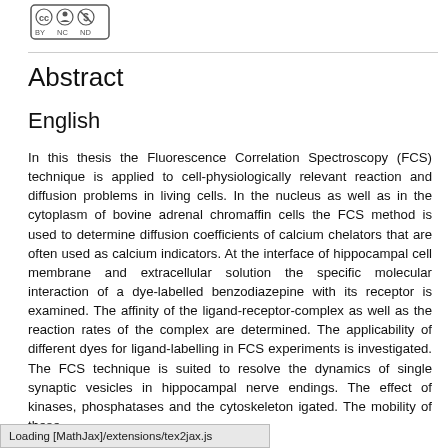[Figure (logo): Creative Commons license logo with BY NC ND icons]
Abstract
English
In this thesis the Fluorescence Correlation Spectroscopy (FCS) technique is applied to cell-physiologically relevant reaction and diffusion problems in living cells. In the nucleus as well as in the cytoplasm of bovine adrenal chromaffin cells the FCS method is used to determine diffusion coefficients of calcium chelators that are often used as calcium indicators. At the interface of hippocampal cell membrane and extracellular solution the specific molecular interaction of a dye-labelled benzodiazepine with its receptor is examined. The affinity of the ligand-receptor-complex as well as the reaction rates of the complex are determined. The applicability of different dyes for ligand-labelling in FCS experiments is investigated. The FCS technique is suited to resolve the dynamics of single synaptic vesicles in hippocampal nerve endings. The effect of kinases, phosphatases and the cytoskeleton igated. The mobility of these
Loading [MathJax]/extensions/tex2jax.js